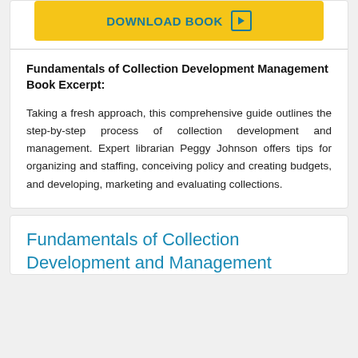[Figure (other): Yellow download button with play icon reading DOWNLOAD BOOK]
Fundamentals of Collection Development Management Book Excerpt:
Taking a fresh approach, this comprehensive guide outlines the step-by-step process of collection development and management. Expert librarian Peggy Johnson offers tips for organizing and staffing, conceiving policy and creating budgets, and developing, marketing and evaluating collections.
Fundamentals of Collection Development and Management